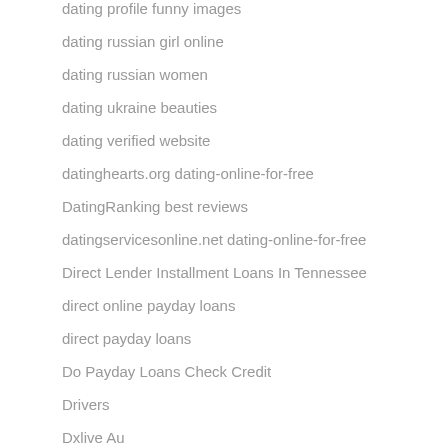dating profile funny images
dating russian girl online
dating russian women
dating ukraine beauties
dating verified website
datinghearts.org dating-online-for-free
DatingRanking best reviews
datingservicesonline.net dating-online-for-free
Direct Lender Installment Loans In Tennessee
direct online payday loans
direct payday loans
Do Payday Loans Check Credit
Drivers
Dxlive Au
DxLive Webcams
eastmeeteast review 2020